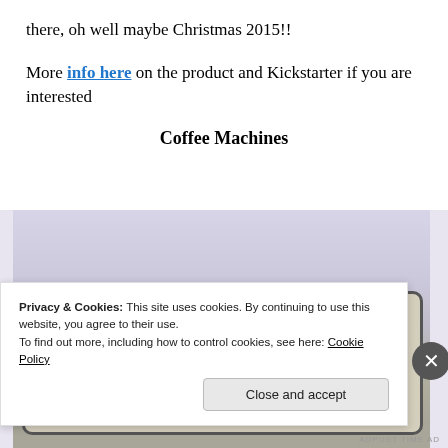there, oh well maybe Christmas 2015!!
More info here on the product and Kickstarter if you are interested
Coffee Machines
[Figure (photo): A close-up photograph of a product sign/label with large dark blue block letters partially visible reading 'TUE L A R' style branding, with a small floral/leaf illustration above the text on a cream-colored background.]
Privacy & Cookies: This site uses cookies. By continuing to use this website, you agree to their use.
To find out more, including how to control cookies, see here: Cookie Policy
Close and accept